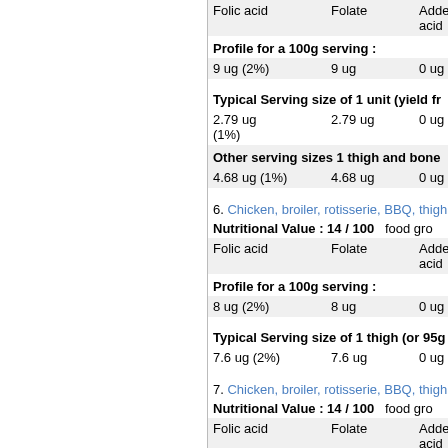| Folic acid | Folate | Added Folic acid |  |
| --- | --- | --- | --- |
| 9 ug (2%) | 9 ug | 0 ug | 2 |
| 2.79 ug | 2.79 ug | 0 ug | 6 (1%) |
| 4.68 ug (1%) | 4.68 ug | 0 ug | 1 |
Profile for a 100g serving :
Typical Serving size of 1 unit (yield fr...
Other serving sizes 1 thigh and bone...
6. Chicken, broiler, rotisserie, BBQ, thigh...
Nutritional Value : 14 / 100    food gro...
| Folic acid | Folate | Added Folic acid |  |
| --- | --- | --- | --- |
| 8 ug (2%) | 8 ug | 0 ug | 1 |
| 7.6 ug (2%) | 7.6 ug | 0 ug | 1 |
Profile for a 100g serving :
Typical Serving size of 1 thigh (or 95g...
7. Chicken, broiler, rotisserie, BBQ, thigh...
Nutritional Value : 14 / 100    food gro...
| Folic acid | Folate | Added Folic acid |  |
| --- | --- | --- | --- |
| 8 ug (2%) | 8 ug | 0 ug |  |
Profile for a 100g serving :